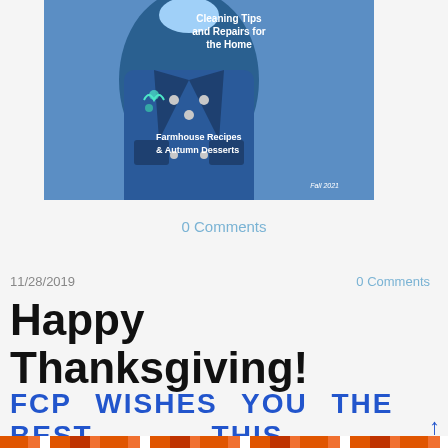[Figure (photo): Magazine cover showing a person wearing a denim jacket with text overlays: 'Cleaning Tips and Repairs for the Home' on the right, 'Farmhouse Recipes & Autumn Desserts' on the left, and 'Fall 2021' in the bottom right corner.]
0 Comments
11/28/2019
0 Comments
Happy Thanksgiving!
FCP WISHES YOU THE BEST THIS HOLIDAY SEASON